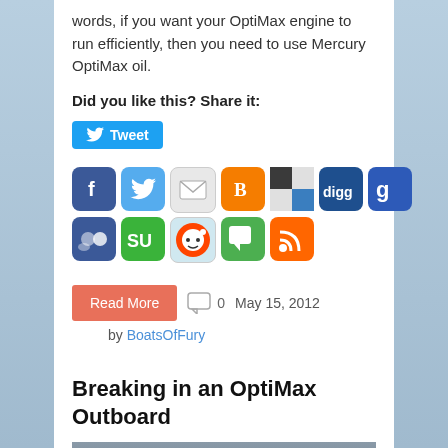words, if you want your OptiMax engine to run efficiently, then you need to use Mercury OptiMax oil.
Did you like this? Share it:
[Figure (other): Tweet button with Twitter bird icon]
[Figure (other): Social sharing icons: Facebook, Twitter, Email, Blogger, Delicious, Digg, Google+, MySpace, StumbleUpon, Reddit, Speaker/Chat, RSS]
0   May 15, 2012
by BoatsOfFury
Breaking in an OptiMax Outboard
[Figure (photo): Partial photo of water/boat scene at bottom of page]